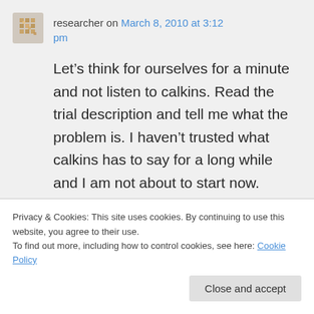researcher on March 8, 2010 at 3:12 pm
Let's think for ourselves for a minute and not listen to calkins. Read the trial description and tell me what the problem is. I haven't trusted what calkins has to say for a long while and I am not about to start now.
Privacy & Cookies: This site uses cookies. By continuing to use this website, you agree to their use.
To find out more, including how to control cookies, see here: Cookie Policy
Close and accept